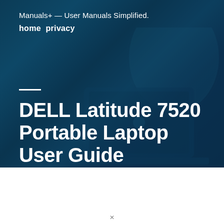Manuals+ — User Manuals Simplified.
home  privacy
DELL Latitude 7520 Portable Laptop User Guide